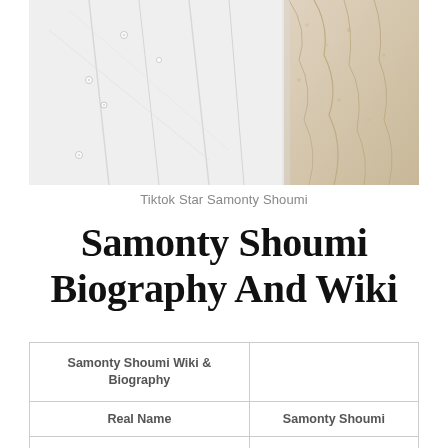[Figure (photo): Close-up photo of white wedding dress fabric with rhinestone/crystal details and lace texture]
Tiktok Star Samonty Shoumi
Samonty Shoumi Biography And Wiki
| Samonty Shoumi Wiki & Biography |  |
| Real Name | Samonty Shoumi |
| Nickname | Samonty |
| Samonty Profession | Actress & Model |